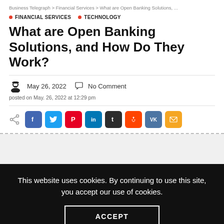Business Telegraph > Financial Services > What are Open Banking Solutions, ...
● FINANCIAL SERVICES  ● TECHNOLOGY
What are Open Banking Solutions, and How Do They Work?
May 26, 2022  ○ No Comment
posted on May. 26, 2022 at 12:29 pm
[Figure (infographic): Social share icons row: share symbol followed by colored rounded square buttons for Facebook, Twitter, Pinterest, LinkedIn, Tumblr, Reddit, VK, and Email]
This website uses cookies. By continuing to use this site, you accept our use of cookies.
ACCEPT